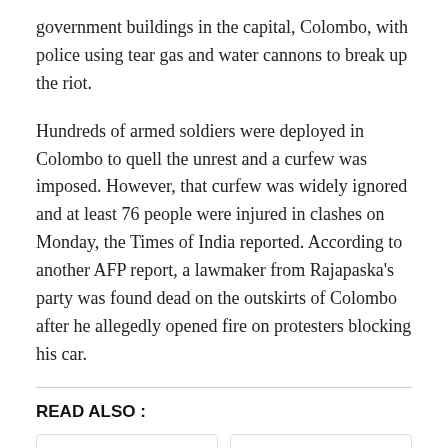government buildings in the capital, Colombo, with police using tear gas and water cannons to break up the riot.
Hundreds of armed soldiers were deployed in Colombo to quell the unrest and a curfew was imposed. However, that curfew was widely ignored and at least 76 people were injured in clashes on Monday, the Times of India reported. According to another AFP report, a lawmaker from Rajapaska’s party was found dead on the outskirts of Colombo after he allegedly opened fire on protesters blocking his car.
READ ALSO :
[Figure (other): Two card thumbnails in a READ ALSO section. Left card is empty/blank. Right card shows a broken image icon and the text 'Sri Lanka will' in blue.]